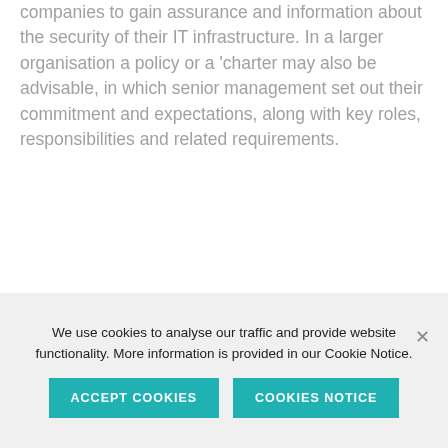companies to gain assurance and information about the security of their IT infrastructure. In a larger organisation a policy or a 'charter may also be advisable, in which senior management set out their commitment and expectations, along with key roles, responsibilities and related requirements.
[Figure (illustration): Teal/turquoise line art illustration of a clipboard with a checklist and a large checkmark]
We use cookies to analyse our traffic and provide website functionality. More information is provided in our Cookie Notice.
ACCEPT COOKIES   COOKIES NOTICE